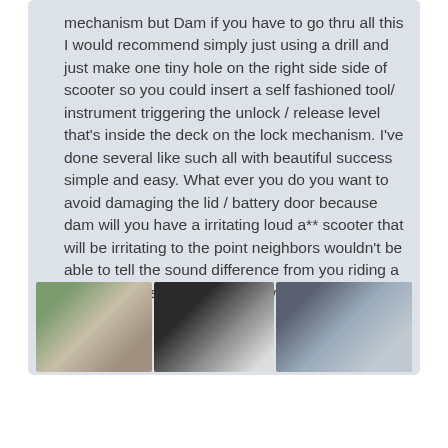mechanism but Dam if you have to go thru all this I would recommend simply just using a drill and just make one tiny hole on the right side side of scooter so you could insert a self fashioned tool/ instrument triggering the unlock / release level that's inside the deck on the lock mechanism. I've done several like such all with beautiful success simple and easy. What ever you do you want to avoid damaging the lid / battery door because dam will you have a irritating loud a** scooter that will be irritating to the point neighbors wouldn't be able to tell the sound difference from you riding a scooter or a shopping cart down the railroad tracks.
[Figure (photo): Three side-by-side photos showing a room/space with plants, equipment, and various objects on the floor.]